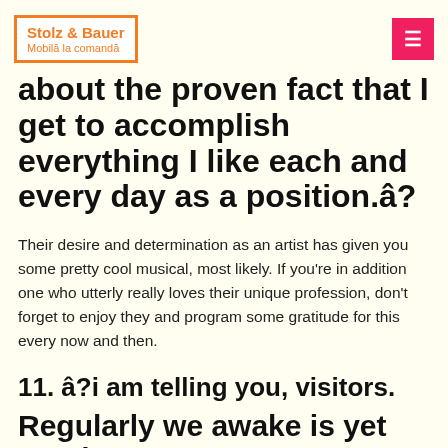Stolz & Bauer | Mobilă la comandă
about the proven fact that I get to accomplish everything I like each and every day as a position.â?
Their desire and determination as an artist has given you some pretty cool musical, most likely. If you're in addition one who utterly really loves their unique profession, don't forget to enjoy they and program some gratitude for this every now and then.
11. â?i am telling you, visitors.
Regularly we awake is yet another blessing. Hood your own aspirations